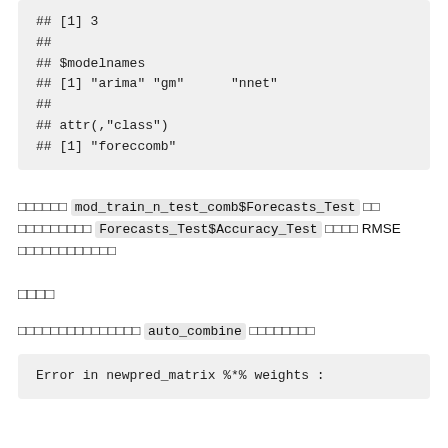## [1] 3
##
## $modelnames
## [1] "arima" "gm"      "nnet"
##
## attr(,"class")
## [1] "foreccomb"
□□□□□□ mod_train_n_test_comb$Forecasts_Test □□ □□□□□□□□□ Forecasts_Test$Accuracy_Test □□□□ RMSE □□□□□□□□□□□□
□□□□
□□□□□□□□□□□□□□□ auto_combine □□□□□□□□
Error in newpred_matrix %*% weights :